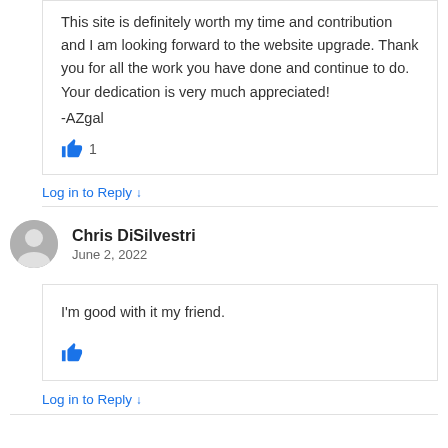This site is definitely worth my time and contribution and I am looking forward to the website upgrade. Thank you for all the work you have done and continue to do. Your dedication is very much appreciated!
-AZgal
👍 1
Log in to Reply ↓
Chris DiSilvestri
June 2, 2022
I'm good with it my friend.
👍
Log in to Reply ↓